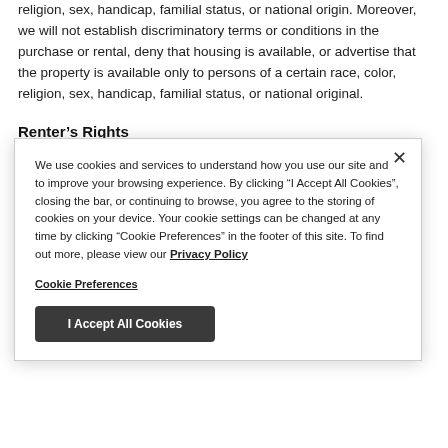religion, sex, handicap, familial status, or national origin. Moreover, we will not establish discriminatory terms or conditions in the purchase or rental, deny that housing is available, or advertise that the property is available only to persons of a certain race, color, religion, sex, handicap, familial status, or national original.
Renter's Rights
We use cookies and services to understand how you use our site and to improve your browsing experience. By clicking "I Accept All Cookies", closing the bar, or continuing to browse, you agree to the storing of cookies on your device. Your cookie settings can be changed at any time by clicking "Cookie Preferences" in the footer of this site. To find out more, please view our Privacy Policy
Cookie Preferences
I Accept All Cookies